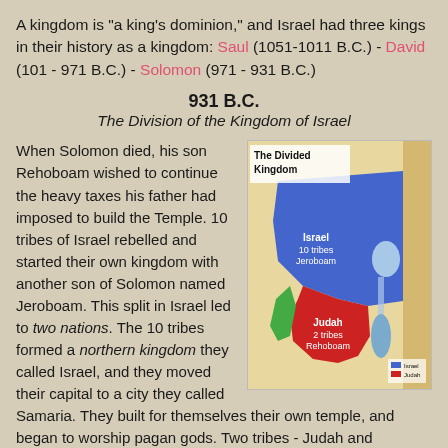A kingdom is "a king's dominion," and Israel had three kings in their history as a kingdom: Saul (1051-1011 B.C.) - David (101 - 971 B.C.) - Solomon (971 - 931 B.C.)
931 B.C.
The Division of the Kingdom of Israel
[Figure (map): Map of the Divided Kingdom showing Israel (10 tribes, Jeroboam) in blue to the north and Judah (2 tribes, Rehoboam) in red to the south.]
When Solomon died, his son Rehoboam wished to continue the heavy taxes his father had imposed to build the Temple. 10 tribes of Israel rebelled and started their own kingdom with another son of Solomon named Jeroboam. This split in Israel led to two nations. The 10 tribes formed a northern kingdom they called Israel, and they moved their capital to a city they called Samaria. They built for themselves their own temple, and began to worship pagan gods. Two tribes - Judah and Benjamin - remained in the south and formed the southern kingdom called Judah. The southern kingdom kept Jerusalem as their capital, continued